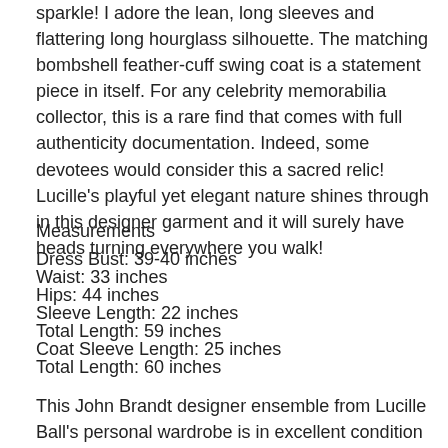sparkle! I adore the lean, long sleeves and flattering long hourglass silhouette. The matching bombshell feather-cuff swing coat is a statement piece in itself. For any celebrity memorabilia collector, this is a rare find that comes with full authenticity documentation. Indeed, some devotees would consider this a sacred relic! Lucille's playful yet elegant nature shines through in this designer garment and it will surely have heads turning everywhere you walk!
Measurements
Dress Bust: 39-40 inches
Waist: 33 inches
Hips: 44 inches
Sleeve Length: 22 inches
Total Length: 59 inches
Coat Sleeve Length: 25 inches
Total Length: 60 inches
This John Brandt designer ensemble from Lucille Ball's personal wardrobe is in excellent condition with no rips, stains or holes. Perfectly working back-zipper and full lining. Full authenticity documentation will be shipped with the garment.